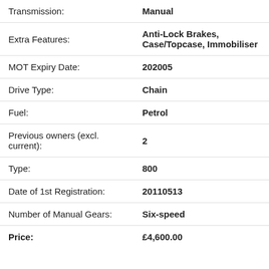| Field | Value |
| --- | --- |
| Transmission: | Manual |
| Extra Features: | Anti-Lock Brakes, Case/Topcase, Immobiliser |
| MOT Expiry Date: | 202005 |
| Drive Type: | Chain |
| Fuel: | Petrol |
| Previous owners (excl. current): | 2 |
| Type: | 800 |
| Date of 1st Registration: | 20110513 |
| Number of Manual Gears: | Six-speed |
| Price: | £4,600.00 |